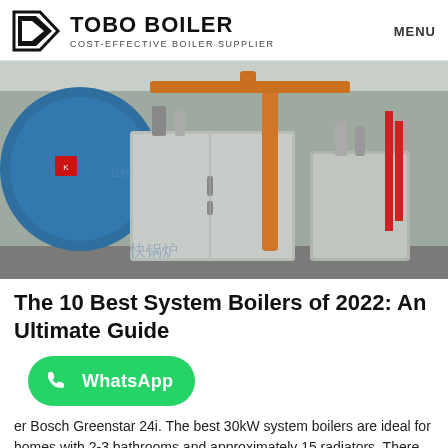TOBO BOILER — COST-EFFECTIVE BOILER SUPPLIER | MENU
[Figure (photo): Industrial boiler room showing multiple large stainless steel and blue boilers with orange and red piping, in a manufacturing facility. Chinese text watermark visible.]
The 10 Best System Boilers of 2022: An Ultimate Guide
[Figure (logo): WhatsApp green button with phone icon and 'WhatsApp' text]
er Bosch Greenstar 24i. The best 30kW system boilers are ideal for homes with 2-3 bathrooms and approximately 15 radiators. There are a